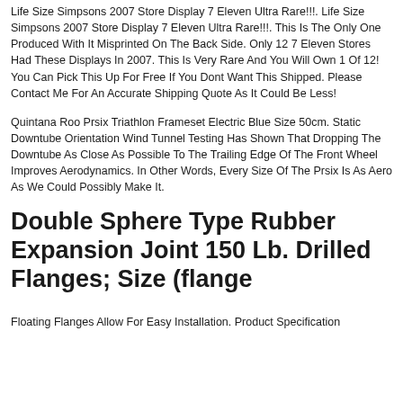Life Size Simpsons 2007 Store Display 7 Eleven Ultra Rare!!!. Life Size Simpsons 2007 Store Display 7 Eleven Ultra Rare!!!. This Is The Only One Produced With It Misprinted On The Back Side. Only 12 7 Eleven Stores Had These Displays In 2007. This Is Very Rare And You Will Own 1 Of 12! You Can Pick This Up For Free If You Dont Want This Shipped. Please Contact Me For An Accurate Shipping Quote As It Could Be Less!
Quintana Roo Prsix Triathlon Frameset Electric Blue Size 50cm. Static Downtube Orientation Wind Tunnel Testing Has Shown That Dropping The Downtube As Close As Possible To The Trailing Edge Of The Front Wheel Improves Aerodynamics. In Other Words, Every Size Of The Prsix Is As Aero As We Could Possibly Make It.
Double Sphere Type Rubber Expansion Joint 150 Lb. Drilled Flanges; Size (flange
Floating Flanges Allow For Easy Installation. Product Specification